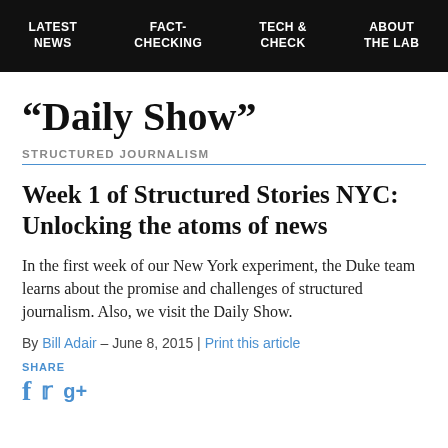LATEST NEWS | FACT-CHECKING | TECH & CHECK | ABOUT THE LAB
“Daily Show”
STRUCTURED JOURNALISM
Week 1 of Structured Stories NYC: Unlocking the atoms of news
In the first week of our New York experiment, the Duke team learns about the promise and challenges of structured journalism. Also, we visit the Daily Show.
By Bill Adair – June 8, 2015 | Print this article
SHARE